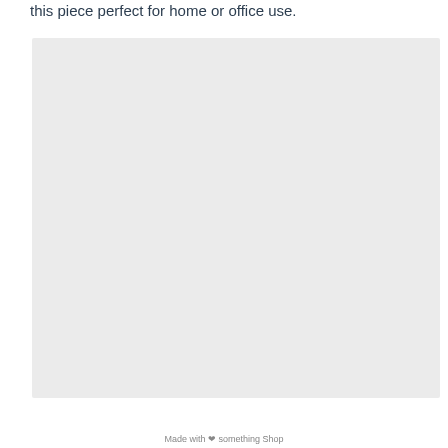this piece perfect for home or office use.
[Figure (photo): Large light gray placeholder image box, nearly square, occupying most of the page below the text snippet.]
Made with ❤ something Shop